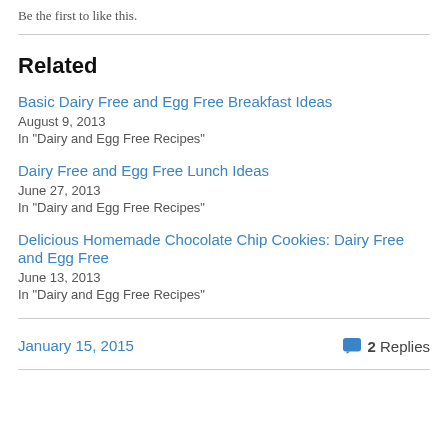Be the first to like this.
Related
Basic Dairy Free and Egg Free Breakfast Ideas
August 9, 2013
In "Dairy and Egg Free Recipes"
Dairy Free and Egg Free Lunch Ideas
June 27, 2013
In "Dairy and Egg Free Recipes"
Delicious Homemade Chocolate Chip Cookies: Dairy Free and Egg Free
June 13, 2013
In "Dairy and Egg Free Recipes"
January 15, 2015
2 Replies